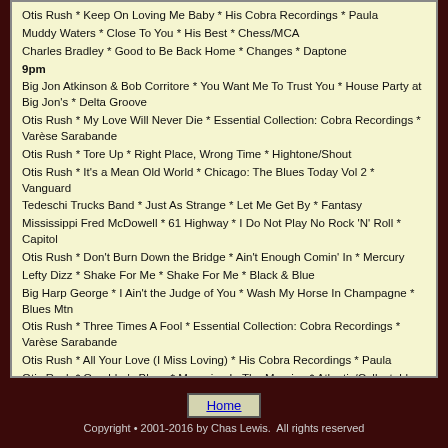Otis Rush * Keep On Loving Me Baby * His Cobra Recordings * Paula
Muddy Waters * Close To You * His Best * Chess/MCA
Charles Bradley * Good to Be Back Home * Changes * Daptone
9pm
Big Jon Atkinson & Bob Corritore * You Want Me To Trust You * House Party at Big Jon's * Delta Groove
Otis Rush * My Love Will Never Die * Essential Collection: Cobra Recordings * Varèse Sarabande
Otis Rush * Tore Up * Right Place, Wrong Time * Hightone/Shout
Otis Rush * It's a Mean Old World * Chicago: The Blues Today Vol 2 * Vanguard
Tedeschi Trucks Band * Just As Strange * Let Me Get By * Fantasy
Mississippi Fred McDowell * 61 Highway * I Do Not Play No Rock 'N' Roll * Capitol
Otis Rush * Don't Burn Down the Bridge * Ain't Enough Comin' In * Mercury
Lefty Dizz * Shake For Me * Shake For Me * Black & Blue
Big Harp George * I Ain't the Judge of You * Wash My Horse In Champagne * Blues Mtn
Otis Rush * Three Times A Fool * Essential Collection: Cobra Recordings * Varèse Sarabande
Otis Rush * All Your Love (I Miss Loving) * His Cobra Recordings * Paula
Otis Rush * Gambler's Blues * Mourning In The Morning * Atlantic/Collectables
Home | Copyright 2001-2016 by Chas Lewis. All rights reserved